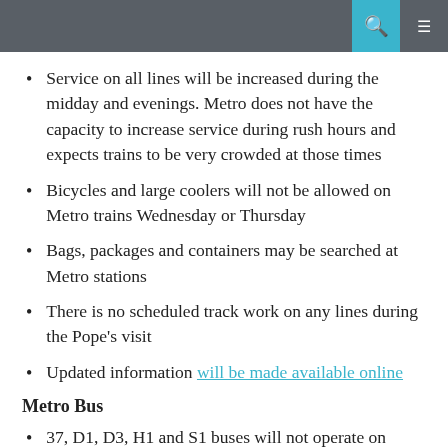Service on all lines will be increased during the midday and evenings. Metro does not have the capacity to increase service during rush hours and expects trains to be very crowded at those times
Bicycles and large coolers will not be allowed on Metro trains Wednesday or Thursday
Bags, packages and containers may be searched at Metro stations
There is no scheduled track work on any lines during the Pope's visit
Updated information will be made available online
Metro Bus
37, D1, D3, H1 and S1 buses will not operate on Wednesday or Thursday